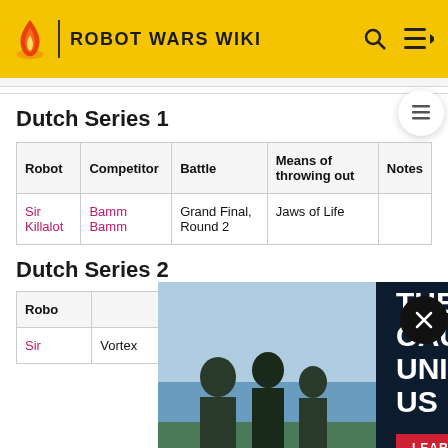ROBOT WARS WIKI
Dutch Series 1
| Robot | Competitor | Battle | Means of throwing out | Notes |
| --- | --- | --- | --- | --- |
| Sir Killalot | Bamm Bamm | Grand Final, Round 2 | Jaws of Life |  |
Dutch Series 2
[Figure (other): Advertisement overlay: THE CAUSE UNITES US - Marines recruitment ad with soldiers image and LEARN MORE button]
| Robot | Competitor | Battle | Means of throwing out | Notes |
| --- | --- | --- | --- | --- |
| Sir | Vortex | Heat | Jaws of | Dropped |